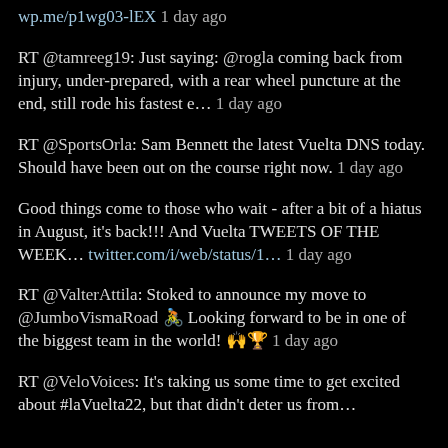wp.me/p1wg03-lEX 1 day ago
RT @tamreeg19: Just saying: @rogla coming back from injury, under-prepared, with a rear wheel puncture at the end, still rode his fastest e… 1 day ago
RT @SportsOrla: Sam Bennett the latest Vuelta DNS today. Should have been out on the course right now. 1 day ago
Good things come to those who wait - after a bit of a hiatus in August, it's back!!! And Vuelta TWEETS OF THE WEEK… twitter.com/i/web/status/1… 1 day ago
RT @ValterAttila: Stoked to announce my move to @JumboVismaRoad 🚴 Looking forward to be in one of the biggest team in the world! 🙌🏆 1 day ago
RT @VeloVoices: It's taking us some time to get excited about #laVuelta22, but that didn't deter us from…